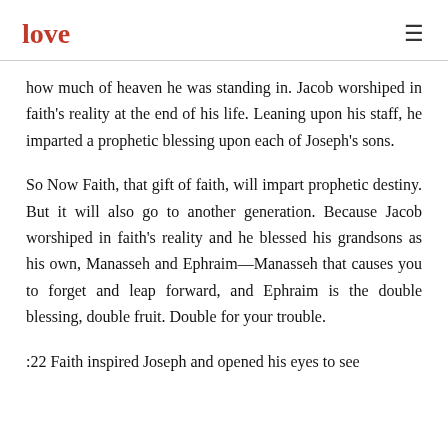love
how much of heaven he was standing in. Jacob worshiped in faith's reality at the end of his life. Leaning upon his staff, he imparted a prophetic blessing upon each of Joseph's sons.
So Now Faith, that gift of faith, will impart prophetic destiny. But it will also go to another generation. Because Jacob worshiped in faith's reality and he blessed his grandsons as his own, Manasseh and Ephraim—Manasseh that causes you to forget and leap forward, and Ephraim is the double blessing, double fruit. Double for your trouble.
:22 Faith inspired Joseph and opened his eyes to see